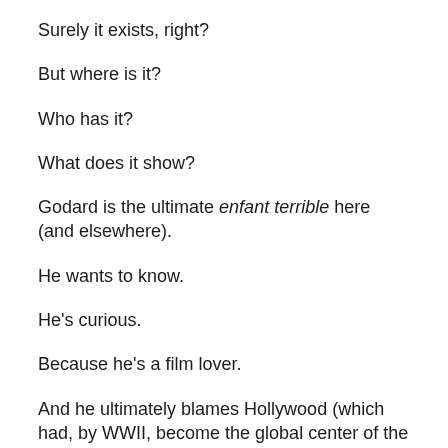Surely it exists, right?
But where is it?
Who has it?
What does it show?
Godard is the ultimate enfant terrible here (and elsewhere).
He wants to know.
He's curious.
Because he's a film lover.
And he ultimately blames Hollywood (which had, by WWII, become the global center of the film industry) for not truly